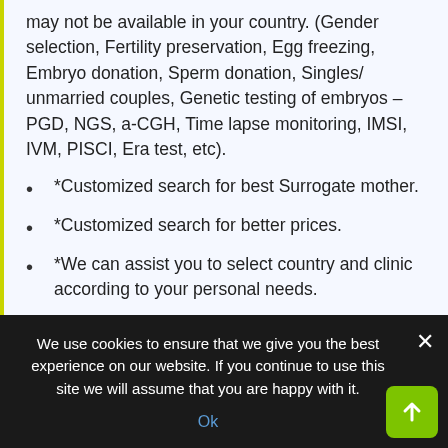may not be available in your country. (Gender selection, Fertility preservation, Egg freezing, Embryo donation, Sperm donation, Singles/unmarried couples, Genetic testing of embryos – PGD, NGS, a-CGH, Time lapse monitoring, IMSI, IVM, PISCI, Era test, etc).
*Customized search for best Surrogate mother.
*Customized search for better prices.
*We can assist you to select country and clinic according to your personal needs.
(*): For these services check our customized
We use cookies to ensure that we give you the best experience on our website. If you continue to use this site we will assume that you are happy with it.
Ok